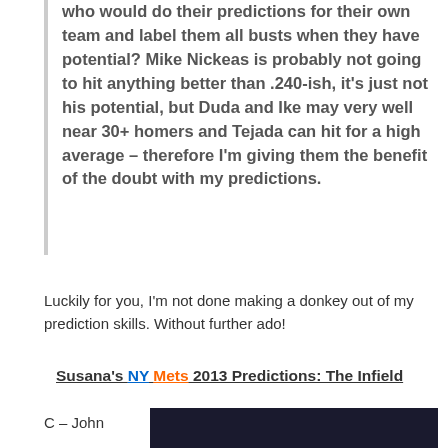who would do their predictions for their own team and label them all busts when they have potential? Mike Nickeas is probably not going to hit anything better than .240-ish, it's just not his potential, but Duda and Ike may very well near 30+ homers and Tejada can hit for a high average – therefore I'm giving them the benefit of the doubt with my predictions.
Luckily for you, I'm not done making a donkey out of my prediction skills. Without further ado!
Susana's NY Mets 2013 Predictions: The Infield
C – John
[Figure (photo): Dark photo partially visible at bottom of page]